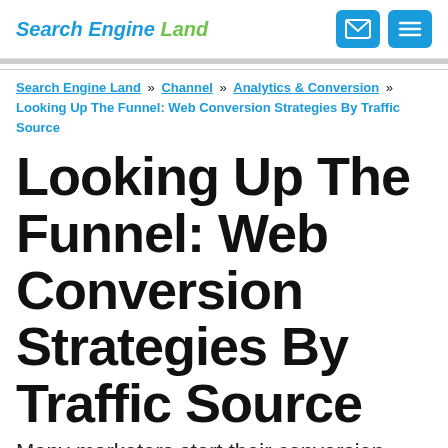Search Engine Land
Search Engine Land » Channel » Analytics & Conversion » Looking Up The Funnel: Web Conversion Strategies By Traffic Source
Looking Up The Funnel: Web Conversion Strategies By Traffic Source
Many marketers start their conversion